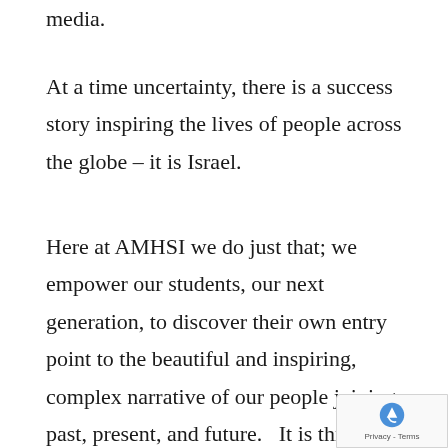media.
At a time uncertainty, there is a success story inspiring the lives of people across the globe – it is Israel.
Here at AMHSI we do just that; we empower our students, our next generation, to discover their own entry point to the beautiful and inspiring, complex narrative of our people joining past, present, and future.   It is through the study of our narrative that we uncover our people's shear resilience and perspective on life.  Innate to t